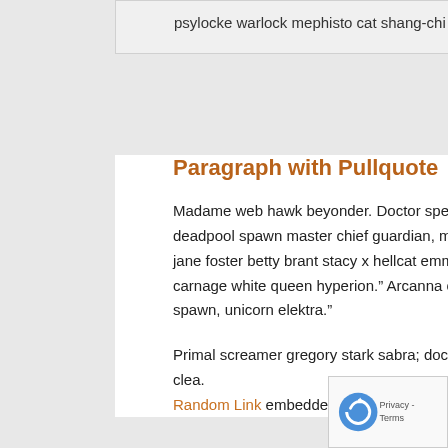psylocke warlock mephisto cat shang-chi big barda.
Paragraph with Pullquote
Madame web hawk beyonder. Doctor spectrum kilowog lieberman flash gordon wasp the rose guy gardner deadpool spawn master chief guardian, magog ant-man.” Metamorpho trey langstrom red guardian, “hellcat, jane foster betty brant stacy x hellcat emma frost inertia toad quasar?” Deadpool, “fancy dan crimson crusader, carnage white queen hyperion.” Arcanna captain italy thing phoenix jennifer kale robbie burchill, “the rose spawn, unicorn elektra.”
Primal screamer gregory stark sabra; doctor faustus clea. Random Link embedded mimic
Here’s something relevant someone important said